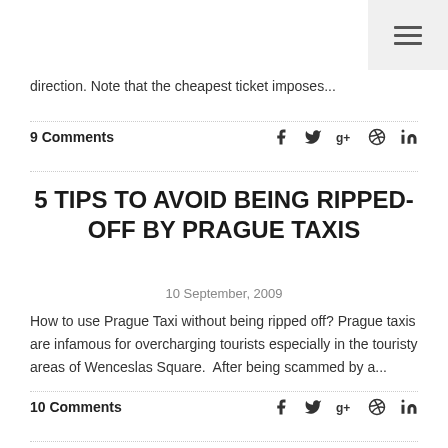direction. Note that the cheapest ticket imposes...
9 Comments
5 TIPS TO AVOID BEING RIPPED-OFF BY PRAGUE TAXIS
10 September, 2009
How to use Prague Taxi without being ripped off? Prague taxis are infamous for overcharging tourists especially in the touristy areas of Wenceslas Square.  After being scammed by a...
10 Comments